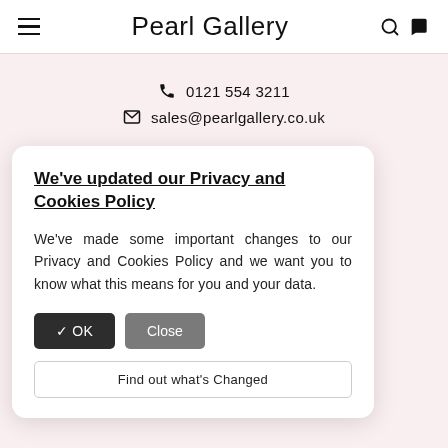Pearl Gallery
☎ 0121 554 3211
✉ sales@pearlgallery.co.uk
COMPANY
We've updated our Privacy and Cookies Policy
We've made some important changes to our Privacy and Cookies Policy and we want you to know what this means for you and your data.
✓ OK   Close
Find out what's Changed